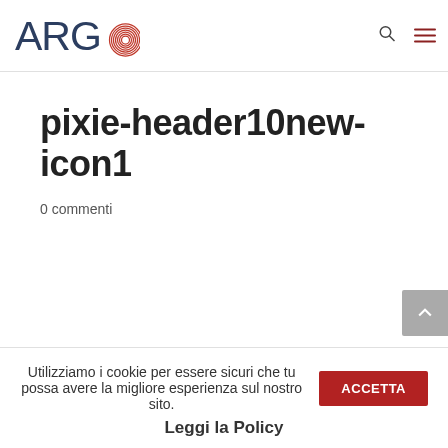ARGO logo with search and menu icons
pixie-header10new-icon1
0 commenti
Utilizziamo i cookie per essere sicuri che tu possa avere la migliore esperienza sul nostro sito. ACCETTA Leggi la Policy
Leggi la Policy